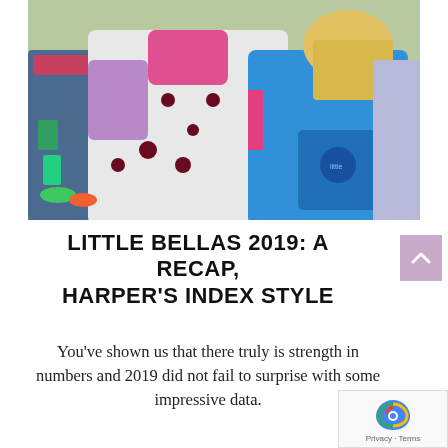[Figure (photo): Photo of girls hugging at an outdoor sporting event, wearing colorful jerseys and carrying a blue backpack with 'Little Bellas' branding. Crowd visible in background on grass field.]
LITTLE BELLAS 2019: A RECAP, HARPER'S INDEX STYLE
You've shown us that there truly is strength in numbers and 2019 did not fail to surprise with some impressive data.